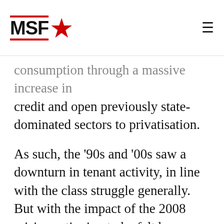MSF★
consumption through a massive increase in credit and open previously state-dominated sectors to privatisation.
As such, the '90s and '00s saw a downturn in tenant activity, in line with the class struggle generally. But with the impact of the 2008 crisis continuing to be felt by workers, and the housing crisis getting worse by the day, we are starting to see a revival. With the Tories continuing Thatcher's work and leading a wholesale